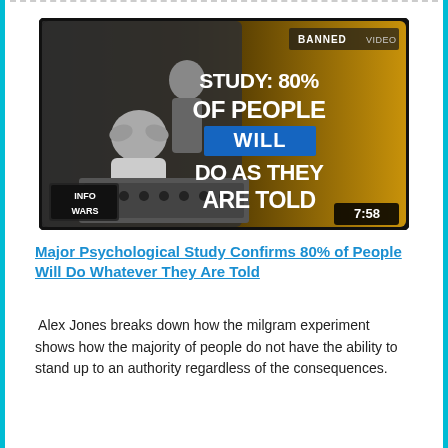[Figure (screenshot): Video thumbnail from Banned.video / InfoWars showing a black and white image of two men, one appearing distressed with head in hands near a control panel, the other standing in background. Gold and black overlay with bold white text reading: STUDY: 80% OF PEOPLE WILL DO AS THEY ARE TOLD. Duration: 7:58. InfoWars logo bottom left.]
Major Psychological Study Confirms 80% of People Will Do Whatever They Are Told
Alex Jones breaks down how the milgram experiment shows how the majority of people do not have the ability to stand up to an authority regardless of the consequences.